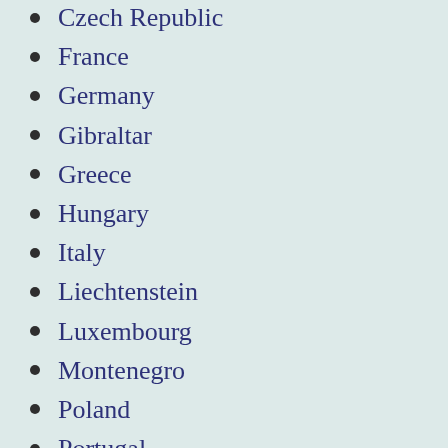Czech Republic
France
Germany
Gibraltar
Greece
Hungary
Italy
Liechtenstein
Luxembourg
Montenegro
Poland
Portugal
San Marino
Slovenia
Spain
Switzerland
Uncategorized